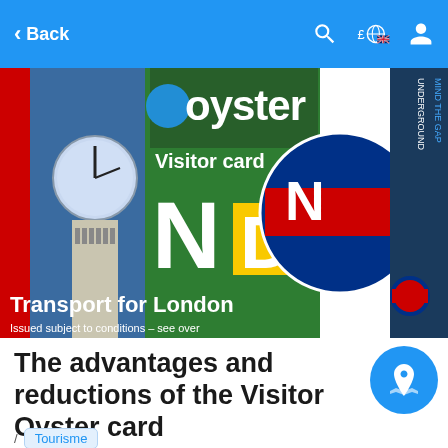Back
[Figure (photo): Oyster Visitor card for Transport for London promotional image, showing the Oyster card overlaid with London landmarks including Big Ben clock tower, London Underground roundel, green and colorful collage with text 'oyster Visitor card', 'N D N', 'Transport for London', 'Issued subject to conditions – see over', and a 'MIND THE GAP' underground platform sign.]
The advantages and reductions of the Visitor Oyster card
/ Tourisme